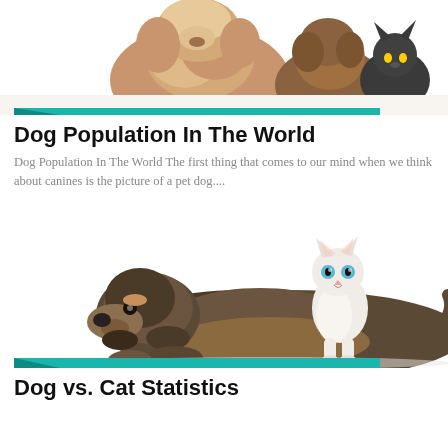[Figure (photo): Two dogs and a cat on white background - a large fluffy golden/brown dog, a medium brown dog, and a dark gray cat, photographed together]
Dog Population In The World
Dog Population In The World The first thing that comes to our mind when we think about canines is the picture of a pet dog....
[Figure (photo): A wire-haired dachshund lying down with a small white kitten standing on its back, on white background]
Dog vs. Cat Statistics